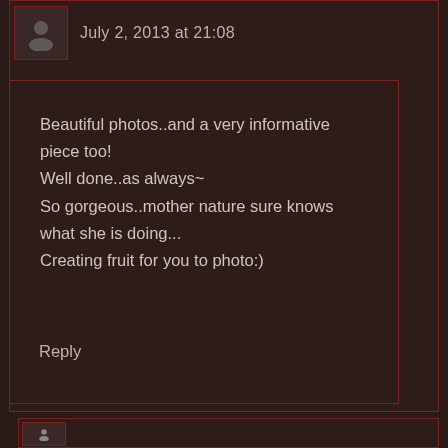July 2, 2013 at 21:08
Beautiful photos..and a very informative piece too!
Well done..as always~
So gorgeous..mother nature sure knows what she is doing...
Creating fruit for you to photo:)
Reply